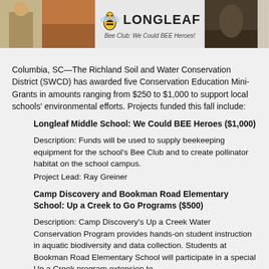[Figure (photo): Banner photo strip showing people outdoors, Longleaf Bee Club logo in center with text 'Bee Club: We Could BEE Heroes!']
Columbia, SC—The Richland Soil and Water Conservation District (SWCD) has awarded five Conservation Education Mini-Grants in amounts ranging from $250 to $1,000 to support local schools' environmental efforts. Projects funded this fall include:
Longleaf Middle School: We Could BEE Heroes ($1,000)
Description: Funds will be used to supply beekeeping equipment for the school's Bee Club and to create pollinator habitat on the school campus.
Project Lead: Ray Greiner
Camp Discovery and Bookman Road Elementary School: Up a Creek to Go Programs ($500)
Description: Camp Discovery's Up a Creek Water Conservation Program provides hands-on student instruction in aquatic biodiversity and data collection. Students at Bookman Road Elementary School will participate in a special Up a Creek program extension to